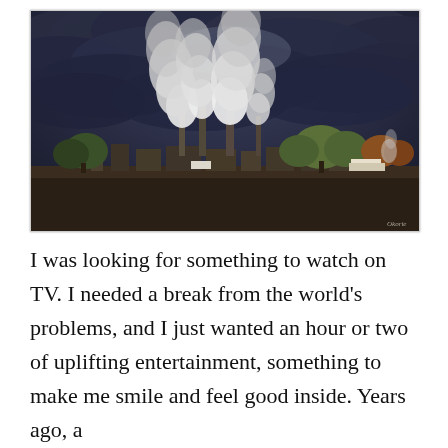[Figure (photo): Industrial facility with large smokestacks emitting white smoke/steam under a dramatic dark stormy sky. Trees and trucks/buildings visible at ground level. A wide empty parking lot or road in the foreground. Photographer watermark 'Okorie' in lower right corner.]
I was looking for something to watch on TV. I needed a break from the world's problems, and I just wanted an hour or two of uplifting entertainment, something to make me smile and feel good inside. Years ago, a man called home... "You can continue... A littl